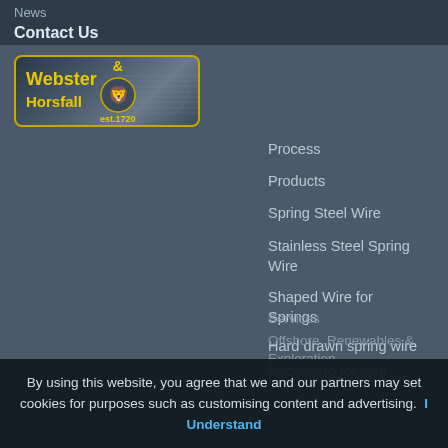News
Contact Us
[Figure (logo): Webster & Horsfall est.1720 company logo with yellow text and lion emblem on dark metallic background with wire graphic, yellow border]
Process
Products
Spring Steel Wire
Stainless Steel Spring Wire
Shaped Wire for Springs
Hard drawn spring wire
Oil-tempered Wire for Springs
Packaging for wire
Dental lab wire
Services
Offshore, Renewables & Exploration
By using this website, you agree that we and our partners may set cookies for purposes such as customising content and advertising. I Understand